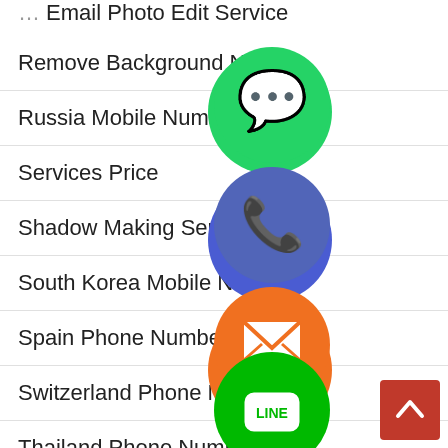Remove Background N...
Russia Mobile Number
Services Price
Shadow Making Servic...
South Korea Mobile N...
Spain Phone Number
Switzerland Phone Number
Thailand Phone Number
[Figure (infographic): Floating social media and messaging app icons (WhatsApp, Phone, Email/Viber, LINE, Viber, close button) overlaid on a navigation menu list. Also includes a red scroll-to-top button in the bottom right.]